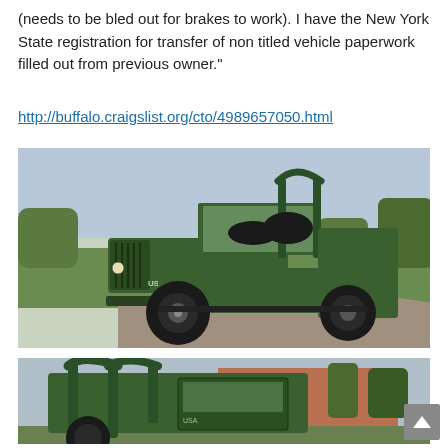(needs to be bled out for brakes to work). I have the New York State registration for transfer of non titled vehicle paperwork filled out from previous owner."
http://buffalo.craigslist.org/cto/4989657050.html
[Figure (photo): Green military-style Willys Jeep (USA-P1) parked on a gravel driveway with green lawn and trees in background, front 3/4 view]
[Figure (photo): Rear 3/4 view of the same green military Jeep showing roll bar and rear cargo area, parked near a building with trees]